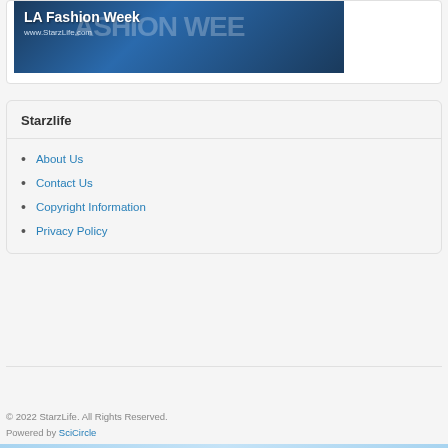[Figure (photo): LA Fashion Week banner image with white text 'LA Fashion Week' and 'www.StarzLife.com' overlaid on a dark blue background with large faded 'FASHION WEE' text]
Starzlife
About Us
Contact Us
Copyright Information
Privacy Policy
© 2022 StarzLife. All Rights Reserved.
Powered by SciCircle